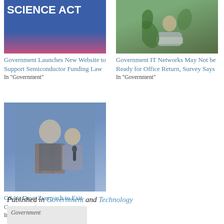[Figure (photo): Top portion of a banner reading SCIENCE ACT with a person in pink behind a podium]
Government Launches New Website to Support Semiconductor Funding Law
In "Government"
[Figure (photo): Person sitting outdoors with a laptop among large green leaves]
Government IT Networks May Not be Ready for Office Return, Survey Says
In "Government"
[Figure (photo): A man in a plaid shirt and vest speaking, with a woman holding a microphone nearby, against a blue background]
GSA's Dave Zvenyach to Exit Government
In "Government"
Published in Government and Technology
[Figure (other): Partially visible tag or label at bottom]